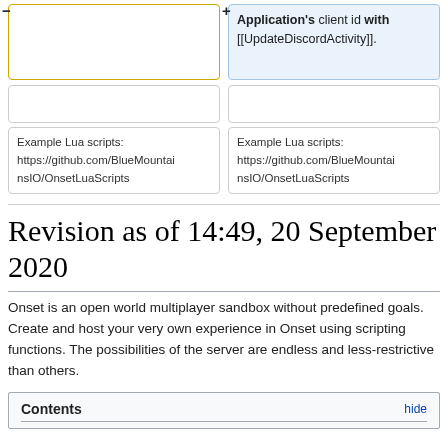[Figure (screenshot): Two-column diff view showing card elements. Left column has a yellow-bordered card (minus/removed). Right column has a blue card with text: Application's client id with [[UpdateDiscordActivity]].]
Example Lua scripts: https://github.com/BlueMountainsIO/OnsetLuaScripts
Example Lua scripts: https://github.com/BlueMountainsIO/OnsetLuaScripts
Revision as of 14:49, 20 September 2020
Onset is an open world multiplayer sandbox without predefined goals. Create and host your very own experience in Onset using scripting functions. The possibilities of the server are endless and less-restrictive than others.
Contents
hide